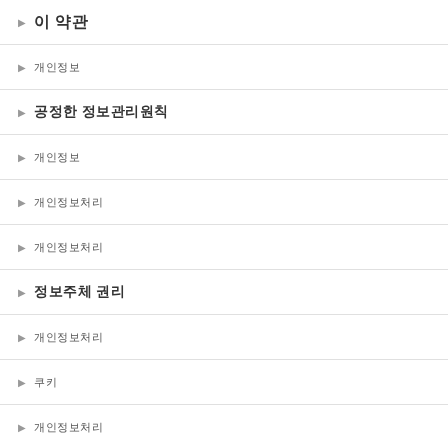이 약관
개인정보
공정한 정보관리원칙
개인정보
개인정보처리
개인정보처리
정보주체 권리
개인정보처리
쿠키
개인정보처리
개인정보